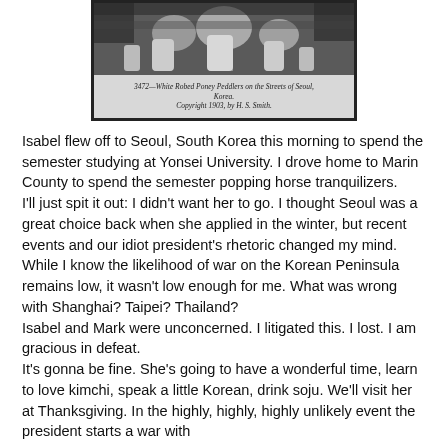[Figure (photo): Black and white photograph of white-robed figures (ponies) on the streets of Seoul, Korea. Below the image is a caption area with italic text reading '3472—White Robed Poney Peddlers on the Streets of Seoul, Korea. Copyright 1903, by H. S. Smith.']
Isabel flew off to Seoul, South Korea this morning to spend the semester studying at Yonsei University. I drove home to Marin County to spend the semester popping horse tranquilizers.
I'll just spit it out: I didn't want her to go. I thought Seoul was a great choice back when she applied in the winter, but recent events and our idiot president's rhetoric changed my mind. While I know the likelihood of war on the Korean Peninsula remains low, it wasn't low enough for me. What was wrong with Shanghai? Taipei? Thailand?
Isabel and Mark were unconcerned. I litigated this. I lost. I am gracious in defeat.
It's gonna be fine. She's going to have a wonderful time, learn to love kimchi, speak a little Korean, drink soju. We'll visit her at Thanksgiving. In the highly, highly, highly unlikely event the president starts a war with